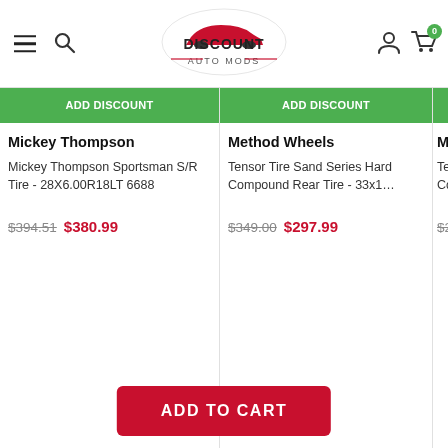[Figure (logo): Discount Auto Mods logo with red car silhouette]
Mickey Thompson
Mickey Thompson Sportsman S/R Tire - 28X6.00R18LT 6688
$394.51  $380.99
Method Wheels
Tensor Tire Sand Series Hard Compound Rear Tire - 33x1…
$349.00  $297.99
Method Wh…
Tensor Tire Compound…
$299.00  $…
[Figure (illustration): Dark delivery truck icon]
ADD TO CART